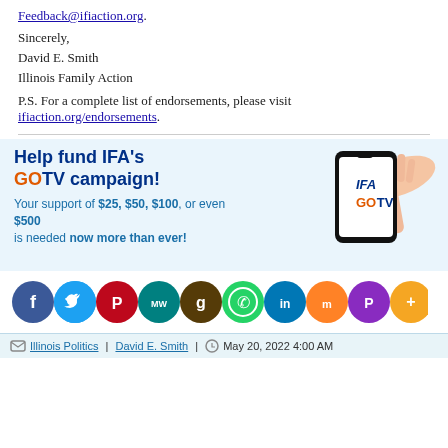Feedback@ifiaction.org.
Sincerely,
David E. Smith
Illinois Family Action
P.S. For a complete list of endorsements, please visit ifiaction.org/endorsements.
[Figure (infographic): IFA GOTV campaign promotional banner with phone graphic showing 'IFA GOTV'. Text: Help fund IFA's GOTV campaign! Your support of $25, $50, $100, or even $500 is needed now more than ever!]
[Figure (infographic): Row of social media share icons: Facebook, Twitter, Pinterest, MeWe, Goodreads, WhatsApp, LinkedIn, Mix, Parler, More]
Illinois Politics | David E. Smith | May 20, 2022 4:00 AM